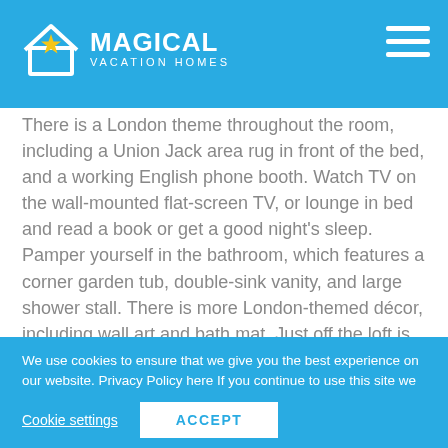[Figure (logo): Magical Vacation Homes logo with house icon containing a yellow star, white text MAGICAL VACATION HOMES on blue background header]
There is a London theme throughout the room, including a Union Jack area rug in front of the bed, and a working English phone booth. Watch TV on the wall-mounted flat-screen TV, or lounge in bed and read a book or get a good night's sleep. Pamper yourself in the bathroom, which features a corner garden tub, double-sink vanity, and large shower stall. There is more London-themed décor, including wall art and bath mat. Just off the loft is the master suite. Cool colors project rest and relaxation.
We use cookies to ensure that we give you the best experience on our website. Privacy Policy here If you continue to use this site we will assume that you are happy with it and you consent to the use of ALL the cookies.
Cookie settings
ACCEPT